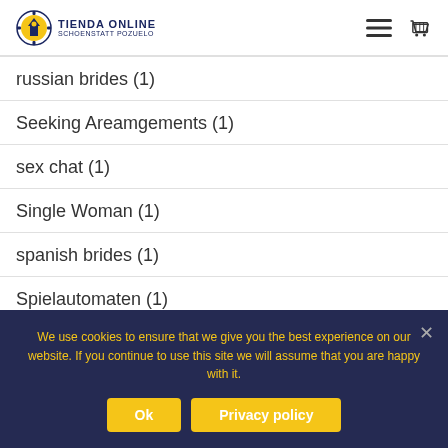TIENDA ONLINE SCHOENSTATT POZUELO
russian brides (1)
Seeking Areamgements (1)
sex chat (1)
Single Woman (1)
spanish brides (1)
Spielautomaten (1)
Style (5)
We use cookies to ensure that we give you the best experience on our website. If you continue to use this site we will assume that you are happy with it.